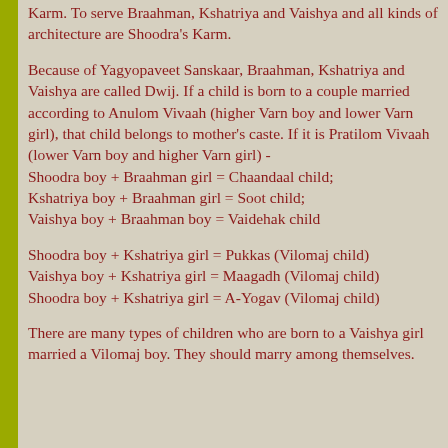Karm. To serve Braahman, Kshatriya and Vaishya and all kinds of architecture are Shoodra's Karm.
Because of Yagyopaveet Sanskaar, Braahman, Kshatriya and Vaishya are called Dwij. If a child is born to a couple married according to Anulom Vivaah (higher Varn boy and lower Varn girl), that child belongs to mother's caste. If it is Pratilom Vivaah (lower Varn boy and higher Varn girl) - Shoodra boy + Braahman girl = Chaandaal child; Kshatriya boy + Braahman girl = Soot child; Vaishya boy + Braahman boy = Vaidehak child
Shoodra boy + Kshatriya girl = Pukkas (Vilomaj child)
Vaishya boy + Kshatriya girl = Maagadh (Vilomaj child)
Shoodra boy + Kshatriya girl = A-Yogav (Vilomaj child)
There are many types of children who are born to a Vaishya girl married a Vilomaj boy. They should marry among themselves.